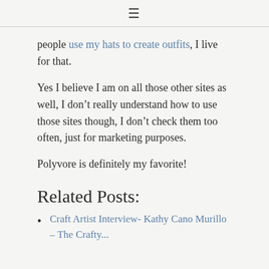≡
people use my hats to create outfits, I live for that.
Yes I believe I am on all those other sites as well, I don't really understand how to use those sites though, I don't check them too often, just for marketing purposes.
Polyvore is definitely my favorite!
Related Posts:
Craft Artist Interview- Kathy Cano Murillo – The Crafty...